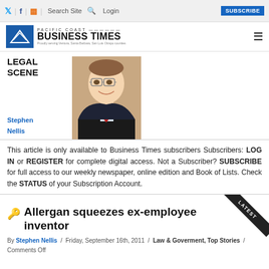Twitter | Facebook | RSS | Search Site | Login | SUBSCRIBE
[Figure (logo): Pacific Coast Business Times logo with blue badge and text]
LEGAL SCENE
[Figure (photo): Headshot of Stephen Nellis, a young man with glasses wearing a suit and red tie]
Stephen Nellis
This article is only available to Business Times subscribers Subscribers: LOG IN or REGISTER for complete digital access. Not a Subscriber? SUBSCRIBE for full access to our weekly newspaper, online edition and Book of Lists. Check the STATUS of your Subscription Account.
Allergan squeezes ex-employee inventor
By Stephen Nellis / Friday, September 16th, 2011 / Law & Goverment, Top Stories / Comments Off